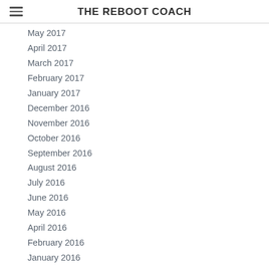THE REBOOT COACH
May 2017
April 2017
March 2017
February 2017
January 2017
December 2016
November 2016
October 2016
September 2016
August 2016
July 2016
June 2016
May 2016
April 2016
February 2016
January 2016
December 2015
November 2015
October 2015
September 2015